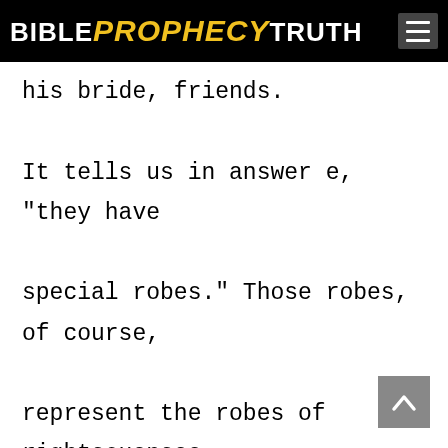BIBLE PROPHECY TRUTH
his bride, friends.

It tells us in answer e, "they have special robes." Those robes, of course, represent the robes of righteousness. You can find that in Revelation 7:13-14, "then one of the elders answered and said to me, 'who are these arrayed in white robes and where did